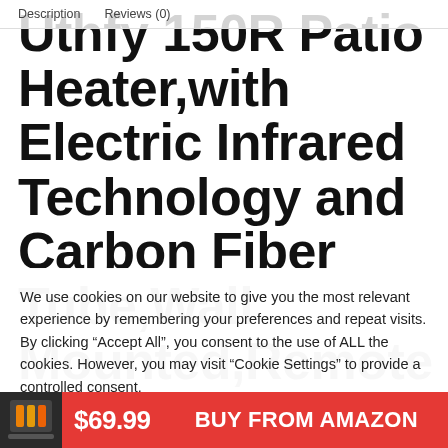Description   Reviews (0)
Uthfy 150R Patio Heater,with Electric Infrared Technology and Carbon Fiber Tube,Wall Mounted,Remote Control and Overheating Protection for
We use cookies on our website to give you the most relevant experience by remembering your preferences and repeat visits. By clicking “Accept All”, you consent to the use of ALL the cookies. However, you may visit “Cookie Settings” to provide a controlled consent.
Cookie Settings   Accept All
$69.99   BUY FROM AMAZON